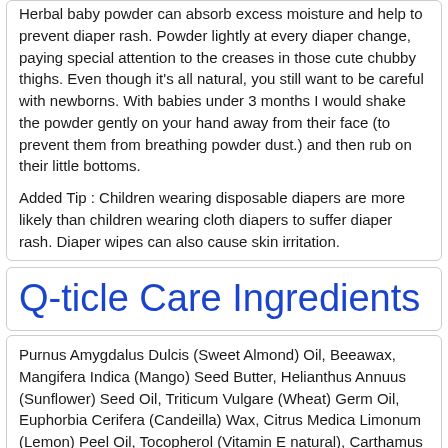Herbal baby powder can absorb excess moisture and help to prevent diaper rash. Powder lightly at every diaper change, paying special attention to the creases in those cute chubby thighs. Even though it's all natural, you still want to be careful with newborns. With babies under 3 months I would shake the powder gently on your hand away from their face (to prevent them from breathing powder dust.) and then rub on their little bottoms.

Added Tip : Children wearing disposable diapers are more likely than children wearing cloth diapers to suffer diaper rash. Diaper wipes can also cause skin irritation.
Q-ticle Care Ingredients
Purnus Amygdalus Dulcis (Sweet Almond) Oil, Beeawax, Mangifera Indica (Mango) Seed Butter, Helianthus Annuus (Sunflower) Seed Oil, Triticum Vulgare (Wheat) Germ Oil, Euphorbia Cerifera (Candeilla) Wax, Citrus Medica Limonum (Lemon) Peel Oil, Tocopherol (Vitamin E natural), Carthamus Tinctorius (Safflower) Seed Oil & Equisetum Hiemale (Horsetail) Extract